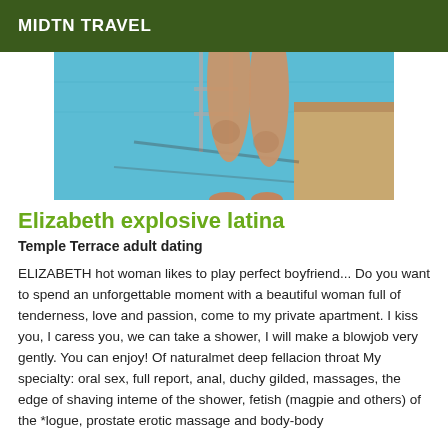MIDTN TRAVEL
[Figure (photo): Photo of a person's legs near a swimming pool with blue water and stone edge]
Elizabeth explosive latina
Temple Terrace adult dating
ELIZABETH hot woman likes to play perfect boyfriend... Do you want to spend an unforgettable moment with a beautiful woman full of tenderness, love and passion, come to my private apartment. I kiss you, I caress you, we can take a shower, I will make a blowjob very gently. You can enjoy! Of naturalmet deep fellacion throat My specialty: oral sex, full report, anal, duchy gilded, massages, the edge of shaving inteme of the shower, fetish (magpie and others) of the *logue, prostate erotic massage and body-body